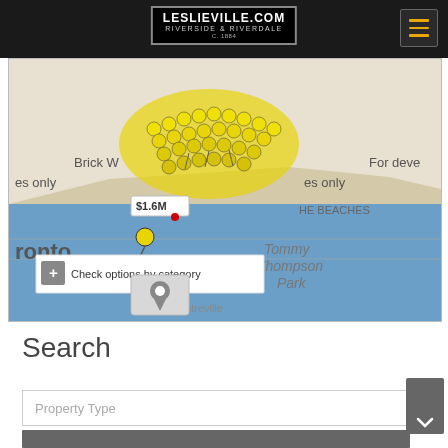LESLIEVILLE.COM RIVERSIDE & RIVERDALE
[Figure (screenshot): Google Maps screenshot showing Toronto area with numerous yellow map pins clustered along the waterfront. A price tooltip reads '$1.6M'. Text visible includes 'Brick W', 'es only', 'HE BEACHES', 'ronto', 'Tommy Thompson Park', 'WARD'S', 'Centreville', 'For deve'. A white popup at bottom-left shows 'Check options by category' with a '+' button, and a gray map pin icon button below.]
Search
Property Type